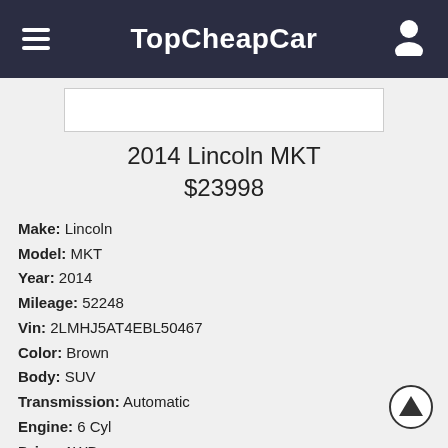TopCheapCar
[Figure (photo): Car image placeholder]
2014 Lincoln MKT
$23998
Make: Lincoln
Model: MKT
Year: 2014
Mileage: 52248
Vin: 2LMHJ5AT4EBL50467
Color: Brown
Body: SUV
Transmission: Automatic
Engine: 6 Cyl
Drive: AWD
Fuel: Gasoline
Zip: 28202
City: Charlotte
State: NC